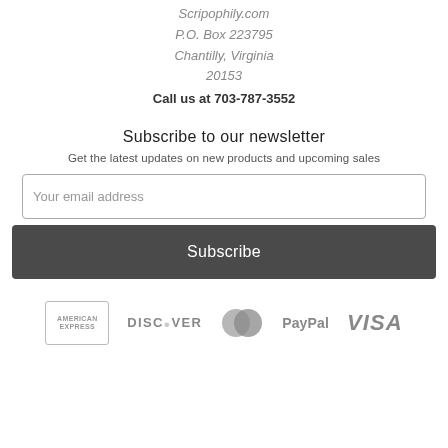Info
Scripophily.com
P.O. Box 223795
Chantilly, Virginia
20153
Call us at 703-787-3552
Subscribe to our newsletter
Get the latest updates on new products and upcoming sales
Your email address
Subscribe
[Figure (logo): Payment icons: American Express, Discover, MasterCard, PayPal, VISA]